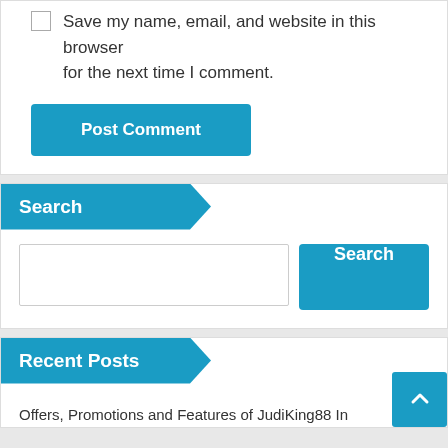Save my name, email, and website in this browser for the next time I comment.
Post Comment
Search
Search
Recent Posts
Offers, Promotions and Features of JudiKing88 In